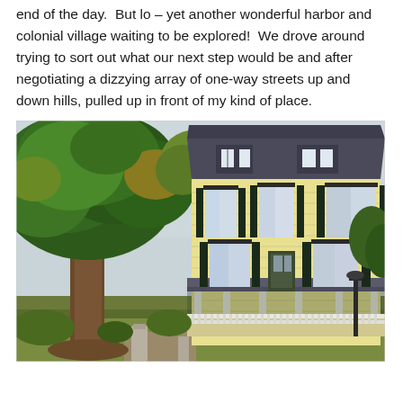end of the day.  But lo – yet another wonderful harbor and colonial village waiting to be explored!  We drove around trying to sort out what our next step would be and after negotiating a dizzying array of one-way streets up and down hills, pulled up in front of my kind of place.
[Figure (photo): A large colonial-style yellow house with dark shutters, a wraparound porch, and a gambrel roof, set beside a very large deciduous tree with green and autumnal foliage. The scene includes a grassy yard, shrubbery, and a wooden post in the foreground.]